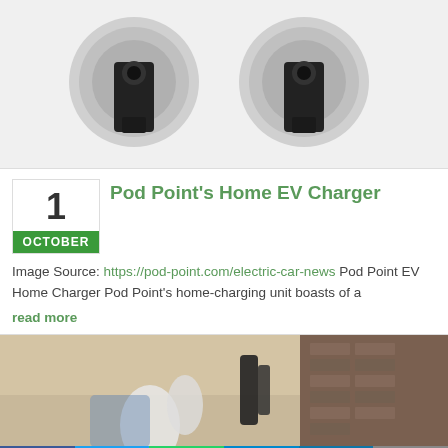[Figure (photo): Two Pod Point EV home chargers, circular silver and black units, shown side by side on white background]
Pod Point’s Home EV Charger
1
OCTOBER
Image Source: https://pod-point.com/electric-car-news Pod Point EV Home Charger Pod Point’s home-charging unit boasts of a
read more
[Figure (photo): Close-up photo of EV charging cables and connectors outside a brick building]
Facebook Twitter WhatsApp Telegram LinkedIn Email